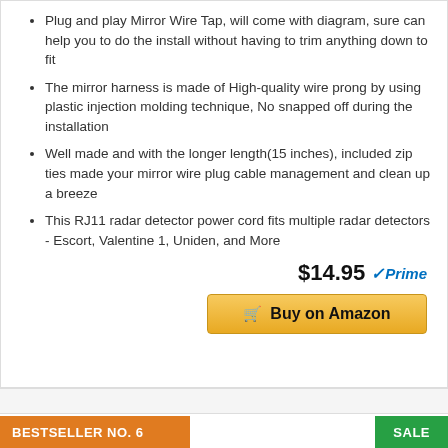Plug and play Mirror Wire Tap, will come with diagram, sure can help you to do the install without having to trim anything down to fit
The mirror harness is made of High-quality wire prong by using plastic injection molding technique, No snapped off during the installation
Well made and with the longer length(15 inches), included zip ties made your mirror wire plug cable management and clean up a breeze
This RJ11 radar detector power cord fits multiple radar detectors - Escort, Valentine 1, Uniden, and More
$14.95 Prime
Buy on Amazon
BESTSELLER NO. 6
SALE